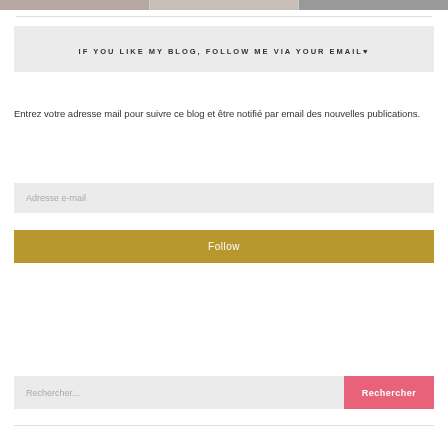[Figure (photo): Partial top strip showing three food/lifestyle photos cropped at the top of the page]
IF YOU LIKE MY BLOG, FOLLOW ME VIA YOUR EMAIL♥
Entrez votre adresse mail pour suivre ce blog et être notifié par email des nouvelles publications.
Adresse e-mail
Follow
Rechercher...
Rechercher